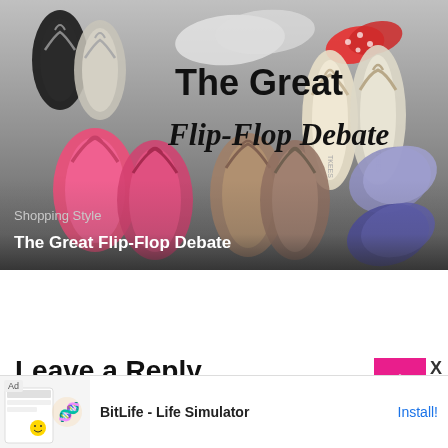[Figure (photo): Hero image of multiple flip-flops in various colors (pink, brown, cream, purple, black, red polka-dot) arranged vertically. Overlaid text reads 'The Great Flip-Flop Debate' in large stylized font. Bottom overlay shows 'Shopping Style' in grey and 'The Great Flip-Flop Debate' in bold white.]
Leave a Reply
[Figure (screenshot): Ad banner at the bottom showing BitLife - Life Simulator app advertisement with Install button.]